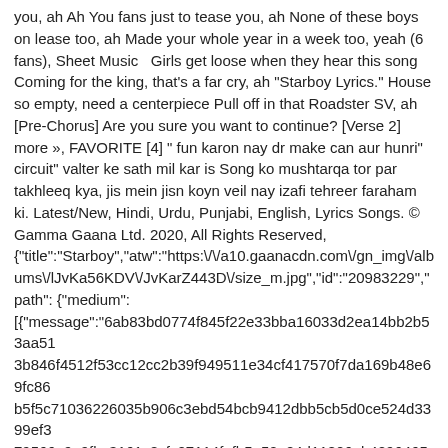you, ah Ah You fans just to tease you, ah None of these boys on lease too, ah Made your whole year in a week too, yeah (6 fans), Sheet Music  Girls get loose when they hear this song Coming for the king, that's a far cry, ah "Starboy Lyrics." House so empty, need a centerpiece Pull off in that Roadster SV, ah [Pre-Chorus] Are you sure you want to continue? [Verse 2] more », FAVORITE [4] " fun karon nay dr make can aur hunri" circuit" valter ke sath mil kar is Song ko mushtarqa tor par takhleeq kya, jis mein jisn koyn veil nay izafi tehreer faraham ki. Latest/New, Hindi, Urdu, Punjabi, English, Lyrics Songs. © Gamma Gaana Ltd. 2020, All Rights Reserved, {"title":"Starboy","atw":"https:\/\/a10.gaanacdn.com\/gn_img\/albums\/lJvKa56KDV\/JvKarZ443D\/size_m.jpg","id":"20983229","path": {"medium": [{"message":"6ab83bd0774f845f22e33bba16033d2ea14bb2b53aa513b846f4512f53cc12cc2b39f949511e34cf417570f7da169b48e69fc86b5f5c71036226035b906c3ebd54bcb9412dbb5cb5d0ce524d3399ef379566a9a9fbc3161c8cfc07114fefb5a50a24d11806ab42964659c32e2def067053ac79fbfcbdf876886aa8b2853b9732e15181df427229937b5a2dac0fe29cd392169d2504bb9396066c3e2af1106103be029448bc2c514b1d4e05aa4b93dc57ee56dce36c56b943f1c4b3b943686c702635d536c14eebdbeee2da50b7129309bde1af713d5803579a0910117e45c636bf774ce82ac0e8cb55b26e5180262032468b50db9170fa864e8ab82770acfaa3","bitRate":"64","expiryTime":1602978767}],"high"